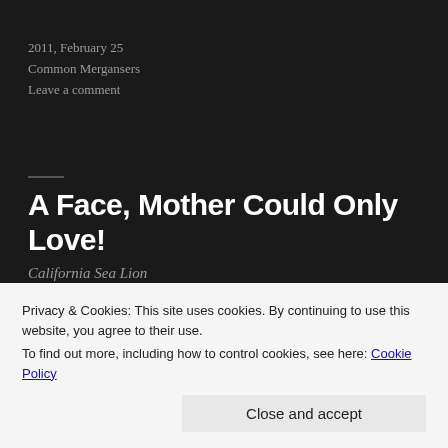2011, February 25
Common Mergansers
Leave a comment
A Face, Mother Could Only Love!
California Sea Lion
[Figure (photo): Close-up photograph of a California Sea Lion, showing its brown fur body against a dark background]
Privacy & Cookies: This site uses cookies. By continuing to use this website, you agree to their use.
To find out more, including how to control cookies, see here: Cookie Policy
Close and accept